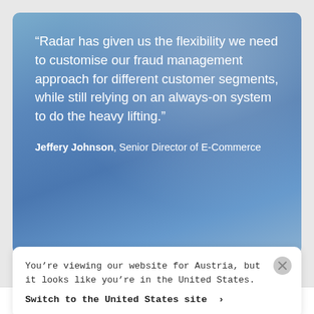[Figure (photo): Blue-toned photo card showing a person seated, with a large quote overlaid in white text on a blue-gradient background]
“Radar has given us the flexibility we need to customise our fraud management approach for different customer segments, while still relying on an always-on system to do the heavy lifting.”
Jeffery Johnson, Senior Director of E-Commerce
You’re viewing our website for Austria, but it looks like you’re in the United States.
Switch to the United States site ›
Results